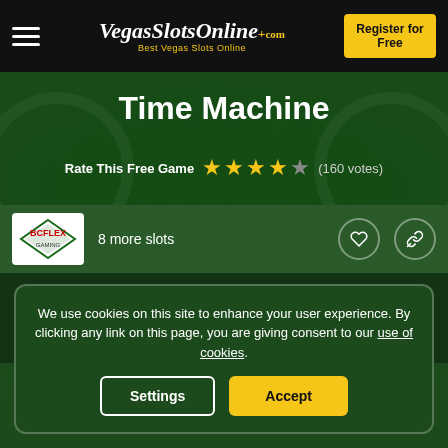VegasSlotsOnline.com — Best Vegas Slots Online | Register for Free
Time Machine
Rate This Free Game ★★★★☆ (160 votes)
BCFLEX — 8 more slots
We use cookies on this site to enhance your user experience. By clicking any link on this page, you are giving consent to our use of cookies.
Settings | Accept